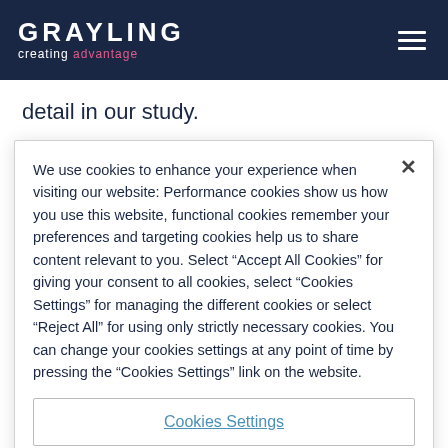GRAYLING creating advantage
detail in our study.
Navigating the minefield
We use cookies to enhance your experience when visiting our website: Performance cookies show us how you use this website, functional cookies remember your preferences and targeting cookies help us to share content relevant to you. Select “Accept All Cookies” for giving your consent to all cookies, select “Cookies Settings” for managing the different cookies or select “Reject All” for using only strictly necessary cookies. You can change your cookies settings at any point of time by pressing the “Cookies Settings” link on the website.
Cookies Settings
Reject All